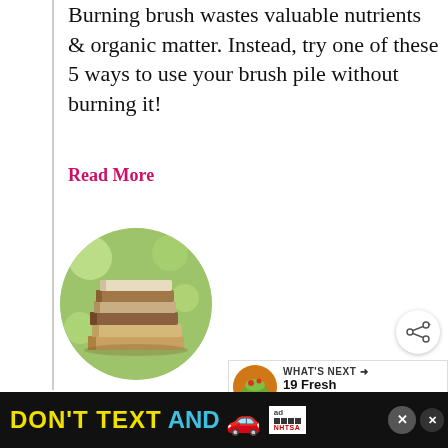Burning brush wastes valuable nutrients & organic matter. Instead, try one of these 5 ways to use your brush pile without burning it!
Read More
[Figure (photo): Circular cropped photo of a stack of books with green foliage background]
[Figure (infographic): Share button icon (circle with share symbol)]
[Figure (infographic): What's Next panel showing a salad recipe thumbnail with text '19 Fresh Summer Sal...']
The 5 Best Permaculture
[Figure (infographic): Advertisement banner: DON'T TEXT AND [car emoji] with NHTSA ad badge and close buttons]